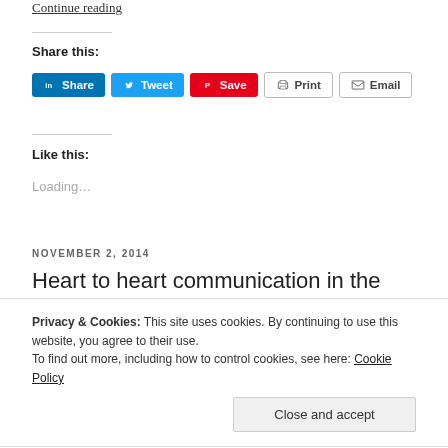Continue reading
Share this:
Share  Tweet  Save  Print  Email
Like this:
Loading…
NOVEMBER 2, 2014
Heart to heart communication in the
Privacy & Cookies: This site uses cookies. By continuing to use this website, you agree to their use.
To find out more, including how to control cookies, see here: Cookie Policy
Close and accept